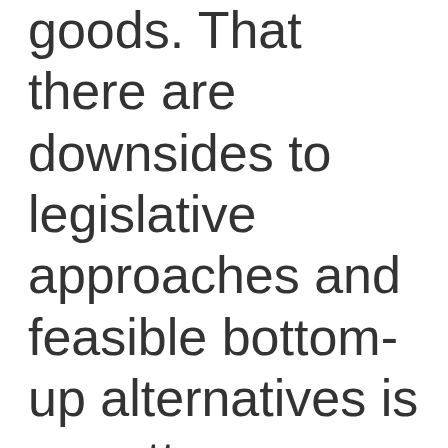goods. That there are downsides to legislative approaches and feasible bottom-up alternatives is a pretty elementary anarchist point